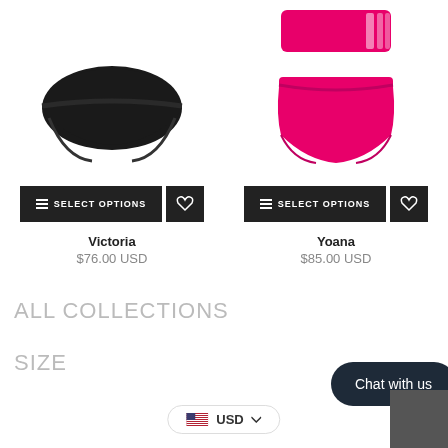[Figure (photo): Black bikini bottom swimsuit on white background]
[Figure (photo): Hot pink high-waisted bikini set with bandeau top on white background]
≡ SELECT OPTIONS
≡ SELECT OPTIONS
Victoria
$76.00 USD
Yoana
$85.00 USD
ALL COLLECTIONS
SIZE
Chat with us
USD